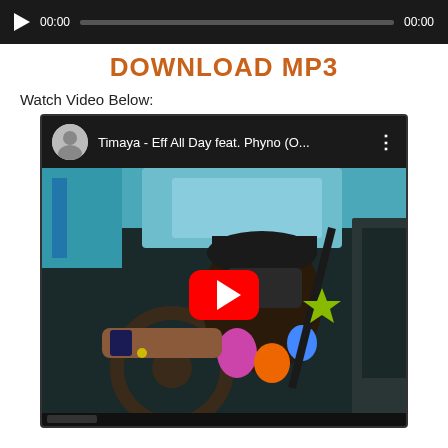[Figure (screenshot): Audio player with play button, time display 00:00, progress bar, and end time 00:00 on dark background]
DOWNLOAD MP3
Watch Video Below:
[Figure (screenshot): YouTube video embed showing Timaya - Eff All Day feat. Phyno (O... with a man driving a car wearing a cap and colorful jacket, with YouTube play button overlay]